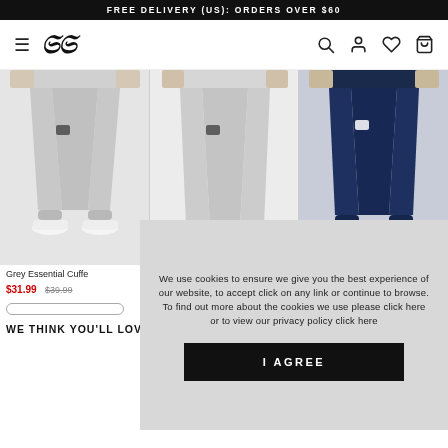FREE DELIVERY (US): ORDERS OVER $60
[Figure (screenshot): SikSilk brand logo with stylized SS monogram in italic script]
[Figure (photo): Three product photos showing grey and navy jogger sweatpants worn by a model]
Grey Essential Cuffe… $31.99 $39.99
We use cookies to ensure we give you the best experience of our website, to accept click on any link or continue to browse. To find out more about the cookies we use please click here or to view our privacy policy click here
I AGREE
WE THINK YOU'LL LOVE